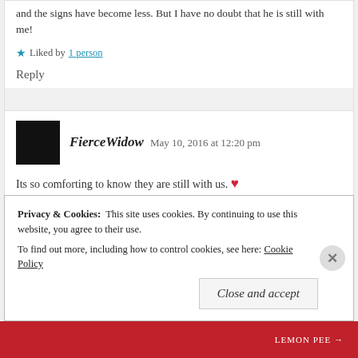and the signs have become less. But I have no doubt that he is still with me!
Liked by 1 person
Reply
FierceWidow   May 10, 2016 at 12:20 pm
Its so comforting to know they are still with us. ❤
Like
Privacy & Cookies: This site uses cookies. By continuing to use this website, you agree to their use. To find out more, including how to control cookies, see here: Cookie Policy
Close and accept